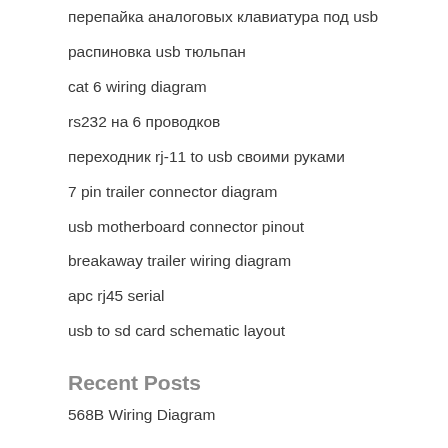перепайка аналоговых клавиатура под usb
распиновка usb тюльпан
cat 6 wiring diagram
rs232 на 6 проводков
переходник rj-11 to usb своими руками
7 pin trailer connector diagram
usb motherboard connector pinout
breakaway trailer wiring diagram
apc rj45 serial
usb to sd card schematic layout
Recent Posts
568B Wiring Diagram